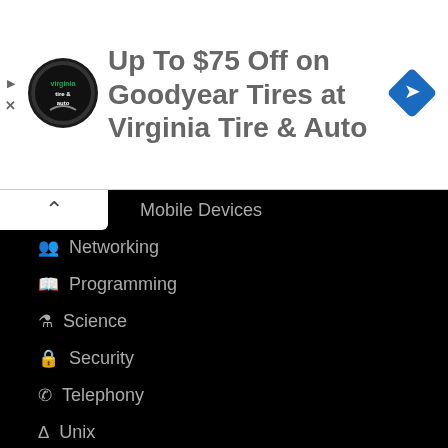[Figure (screenshot): Advertisement banner: Virginia Tire & Auto logo, text 'Up To $75 Off on Goodyear Tires at Virginia Tire & Auto', blue diamond navigation arrow icon]
Mobile Devices
Networking
Programming
Science
Security
Telephony
Unix
BY TECH-FAQ
COPYRIGHT © 2022 INDEPENDENT MEDIA | REFERENCE THE TECH-FAQ | PRIVACY POLICY | SITE INDEX
495 queries in 0.734 seconds.